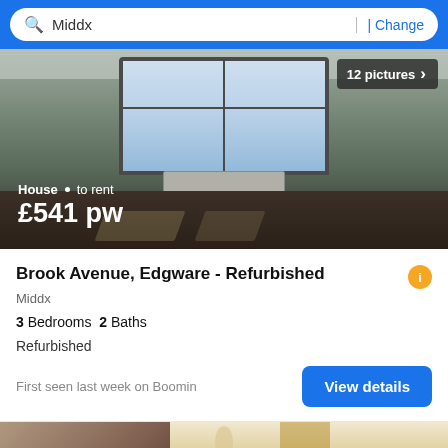Middx  | Change
[Figure (photo): Interior room photo showing a bay window with light streaming in, hardwood floor with shadow patterns, and white walls]
12 pictures
House · to rent £541 pw
Brook Avenue, Edgware - Refurbished
Middx
3 Bedrooms  2 Baths
Refurbished
First seen last week on Boomin
View details
[Figure (photo): Interior room photo showing a living room with floral artwork on the left wall, yellow curtains, chandelier, and light wallpaper]
Filter
10 pictures